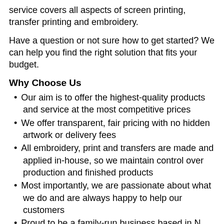service covers all aspects of screen printing, transfer printing and embroidery.
Have a question or not sure how to get started? We can help you find the right solution that fits your budget.
Why Choose Us
Our aim is to offer the highest-quality products and service at the most competitive prices
We offer transparent, fair pricing with no hidden artwork or delivery fees
All embroidery, print and transfers are made and applied in-house, so we maintain control over production and finished products
Most importantly, we are passionate about what we do and are always happy to help our customers
Proud to be a family-run business based in N Ireland!
Our Services
Screen Printing
Printing gives you many advantages: it's durable and it can create unique and complex designs using extremely vivid colours. If your logo has bright and vibrant colours, then